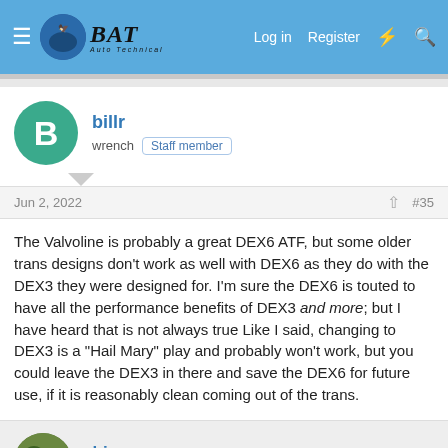BAT Auto Technical — Log in   Register
billr
wrench  Staff member
Jun 2, 2022   #35
The Valvoline is probably a great DEX6 ATF, but some older trans designs don't work as well with DEX6 as they do with the DEX3 they were designed for. I'm sure the DEX6 is touted to have all the performance benefits of DEX3 and more; but I have heard that is not always true Like I said, changing to DEX3 is a "Hail Mary" play and probably won't work, but you could leave the DEX3 in there and save the DEX6 for future use, if it is reasonably clean coming out of the trans.
rhino
Newbie